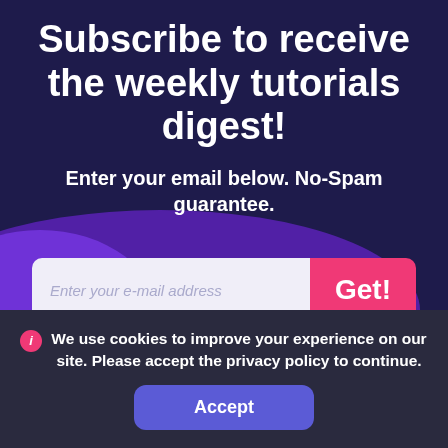Subscribe to receive the weekly tutorials digest!
Enter your email below. No-Spam guarantee.
Enter your e-mail address
Get!
We use cookies to improve your experience on our site. Please accept the privacy policy to continue.
Privacy Policy and Terms of Service
Accept